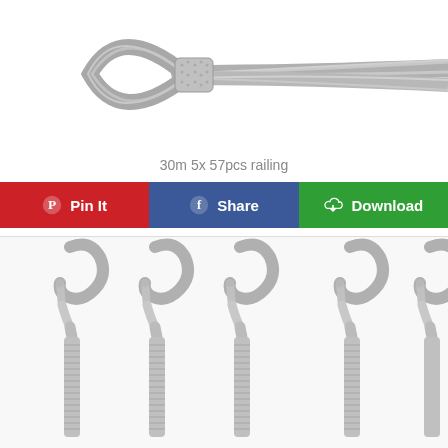[Figure (photo): Close-up photo of a stainless steel wire rope with a swaged loop end and a ferrule/sleeve crimp fitting.]
30m 5x 57pcs railing
[Figure (infographic): Row of three social sharing buttons: Pin It (red, Pinterest), Share (blue, Facebook), Download (green, cloud download icon).]
[Figure (photo): Photo of five stainless steel open hook turnbuckles arranged side by side, showing the hook ends and threaded barrel bodies.]